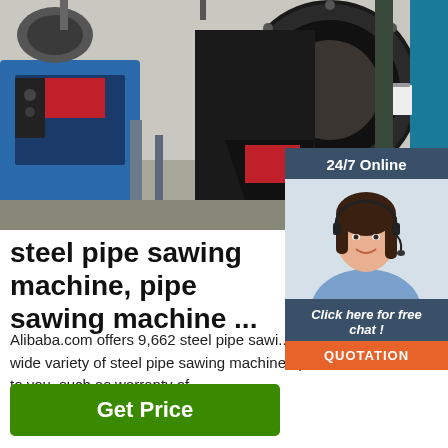[Figure (photo): Industrial factory setting showing steel pipe sawing machine equipment including large circular saw frame, metal cylinders, and industrial machinery on workshop floor]
[Figure (infographic): Customer service widget: '24/7 Online' header in dark teal, photo of smiling woman with headset, 'Click here for free chat!' text, orange QUOTATION button]
steel pipe sawing machine, pipe sawing machine ...
Alibaba.com offers 9,662 steel pipe sawing machine products. A wide variety of steel pipe sawing machine options are available to you, such as warranty of ...
Get Price